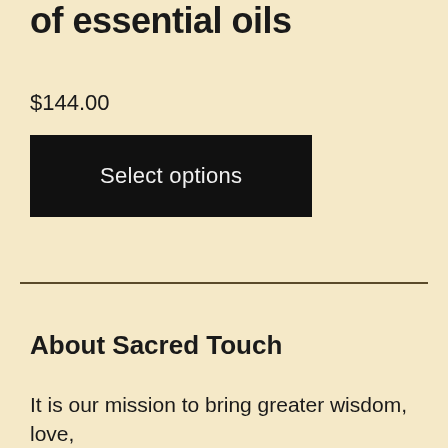of essential oils
$144.00
[Figure (other): Black button labeled 'Select options']
About Sacred Touch
It is our mission to bring greater wisdom, love, inspiration, beauty, quality and well-being to our